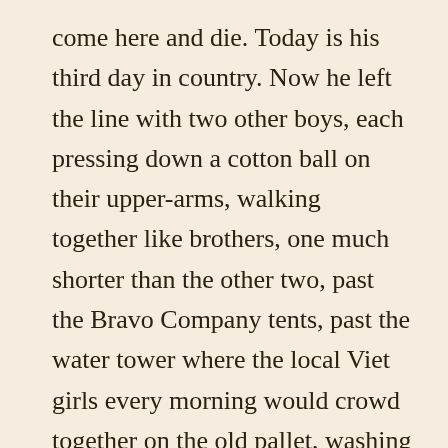come here and die. Today is his third day in country. Now he left the line with two other boys, each pressing down a cotton ball on their upper-arms, walking together like brothers, one much shorter than the other two, past the Bravo Company tents, past the water tower where the local Viet girls every morning would crowd together on the old pallet, washing the troops' clothes in big round pails, walking past the wooden pallet now dry and empty of buckets, going around the cement trucks, the water-purification trucks, crossing the airstrip and stopping at a row of three connex containers painted in buff color. Dust blew yellow specks on the grass and on a pile of boots that leaned